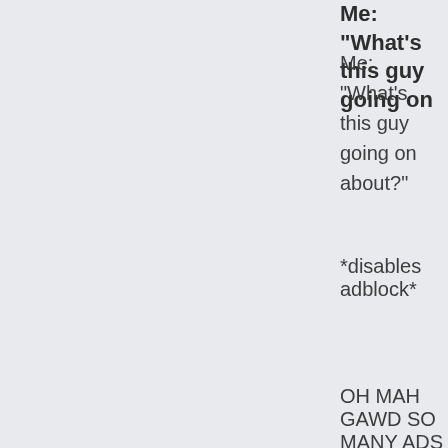Me: “What’s this guy going on
Me: “What’s this guy going on about?”
*disables adblock*
OH MAH GAWD SO MANY ADS
REPLY
Jeremy Hellstrom on November 19, 2018 at 11:51 pm
I know, sorry but I had no
I know, sorry but I had no wish to type about Fossil and I’d already